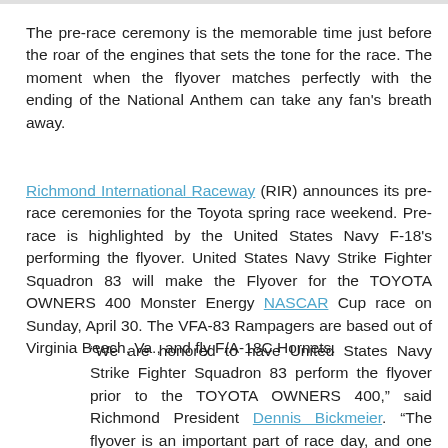The pre-race ceremony is the memorable time just before the roar of the engines that sets the tone for the race. The moment when the flyover matches perfectly with the ending of the National Anthem can take any fan's breath away.
Richmond International Raceway (RIR) announces its pre-race ceremonies for the Toyota spring race weekend. Pre-race is highlighted by the United States Navy F-18's performing the flyover. United States Navy Strike Fighter Squadron 83 will make the Flyover for the TOYOTA OWNERS 400 Monster Energy NASCAR Cup race on Sunday, April 30. The VFA-83 Rampagers are based out of Virginia Beach, Va., and fly F/A-18C Hornets.
“We are honored to have United States Navy Strike Fighter Squadron 83 perform the flyover prior to the TOYOTA OWNERS 400,” said Richmond President Dennis Bickmeier. “The flyover is an important part of race day, and one that many fans look forward to. I know the roar of